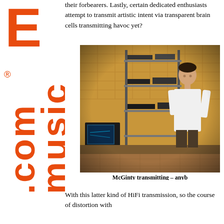their forbearers. Lastly, certain dedicated enthusiasts attempt to transmit artistic intent via transparent brain cells transmitting havoc yet?
[Figure (photo): A man in a white shirt standing in front of shelves of audio/electronic equipment in a room with brick walls. Caption: McGinty transmitting – anyb]
McGinty transmitting – anyb
With this latter kind of HiFi transmission, so the course of distortion with